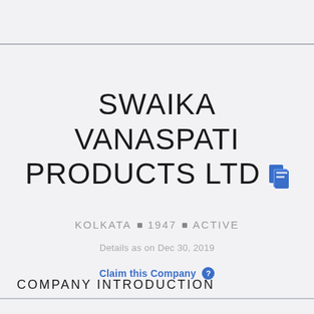SWAIKA VANASPATI PRODUCTS LTD
KOLKATA ■ 1947 ■ ACTIVE
Details as on Dec 30, 2019
Claim this Company
COMPANY INTRODUCTION